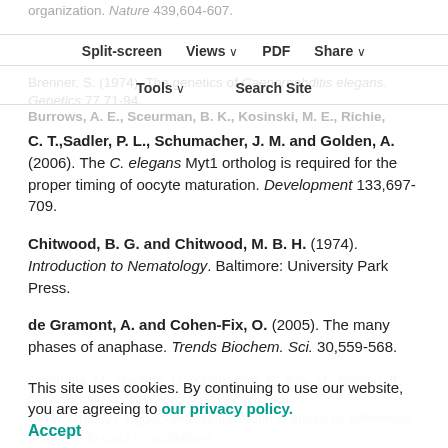organization. Nature 439,604-607.
Split-screen  Views  PDF  Share  Tools  Search Site
Brenner, S. (1974). The genetics of Caenornabditis elegans. Genetics 77,71-94.
Burrows, A. E., Sceurman, B. K., Kosinski, M. E., Richie, C. T., Sadler, P. L., Schumacher, J. M. and Golden, A. (2006). The C. elegans Myt1 ortholog is required for the proper timing of oocyte maturation. Development 133,697-709.
Chitwood, B. G. and Chitwood, M. B. H. (1974). Introduction to Nematology. Baltimore: University Park Press.
de Gramont, A. and Cohen-Fix, O. (2005). The many phases of anaphase. Trends Biochem. Sci. 30,559-568.
This site uses cookies. By continuing to use our website, you are agreeing to our privacy policy. Accept